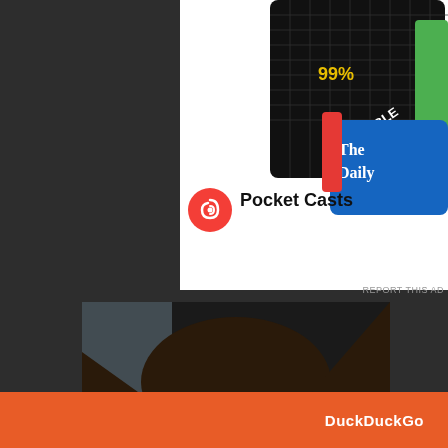[Figure (screenshot): Pocket Casts podcast app advertisement showing the Pocket Casts logo with orange swirl icon and text 'Pocket Casts', along with podcast cover art including '99% Invisible' and 'The Daily' on a white background.]
REPORT THIS AD
[Figure (photo): Profile photo of a young woman with long dark hair, smiling, in a dimly lit setting.]
A travel blogger from Kolkata
Privacy & Cookies: This site uses cookies. By continuing to use this website, you agree to their use.
To find out more, including how to control cookies, see here: Cookie Policy
Close and accept
[Figure (screenshot): Bottom strip showing DuckDuckGo branding in orange bar.]